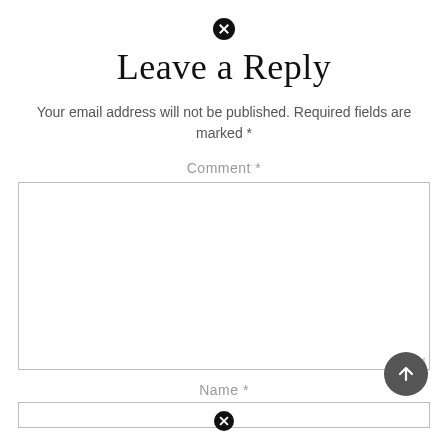Leave a Reply
Your email address will not be published. Required fields are marked *
Comment *
[Figure (other): Large empty comment textarea input box with resize handle in bottom-right corner]
Name *
[Figure (other): Name text input field, partially visible at the bottom of the page]
[Figure (other): Circular scroll-to-top button with upward arrow, dark gray background]